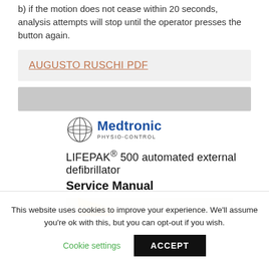b) if the motion does not cease within 20 seconds, analysis attempts will stop until the operator presses the button again.
AUGUSTO RUSCHI PDF
[Figure (logo): Medtronic Physio-Control logo with globe icon and blue Medtronic text]
LIFEPAK® 500 automated external defibrillator
Service Manual
[Figure (photo): Partial image of the LIFEPAK 500 device cover with yellow arrow graphic]
This website uses cookies to improve your experience. We'll assume you're ok with this, but you can opt-out if you wish.
Cookie settings
ACCEPT